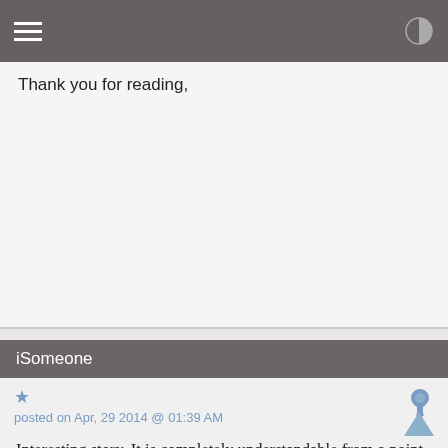Thank you for reading,
iSomeone
posted on Apr, 29 2014 @ 01:39 AM
Interesting story. It is completely understandable from a point of view from someone who is intelligent, and looking for answers, but can't seem to find them.

It is true that there are "Christians" who call themselves that who act like what you wrote in the story. But not true Christians.

A true Christian would tell you that God has been on trial now for about six thousand years. Ever since he created mankind, and we decided to rebel against him.